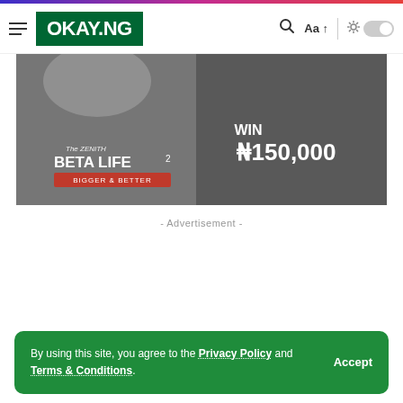OKAY.NG
[Figure (photo): Zenith Beta Life promotional banner showing a person holding a phone with text 'WIN ₦150,000' and 'ZENITH BETA LIFE BIGGER & BETTER' overlay]
- Advertisement -
By using this site, you agree to the Privacy Policy and Terms & Conditions.